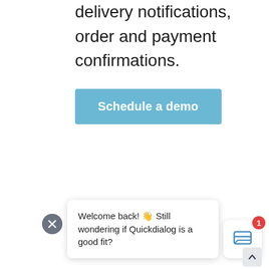delivery notifications, order and payment confirmations.
[Figure (screenshot): Blue button labeled 'Schedule a demo']
[Figure (screenshot): Chat popup with close button (X), speech bubble saying 'Welcome back! 👋 Still wondering if Quickdialog is a good fit?', and a chat icon button with badge showing 1 unread message. Scroll-to-top arrow in bottom right.]